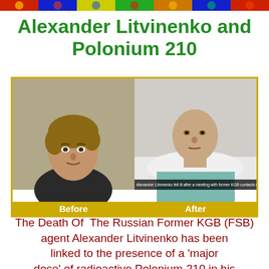Alexander Litvinenko and Polonium 210
[Figure (photo): Two side-by-side photos of Alexander Litvinenko. Left photo labeled 'Before' shows him healthy. Right photo labeled 'After' shows him ill in a hospital bed. Caption on right photo reads: 'Alexander Litvinenko fell ill after a meeting with former KGB contacts in London in 2006']
The Death Of The Russian Former KGB (FSB) agent Alexander Litvinenko has been linked to the presence of a 'major dose' of radioactive Polonium-210 in his